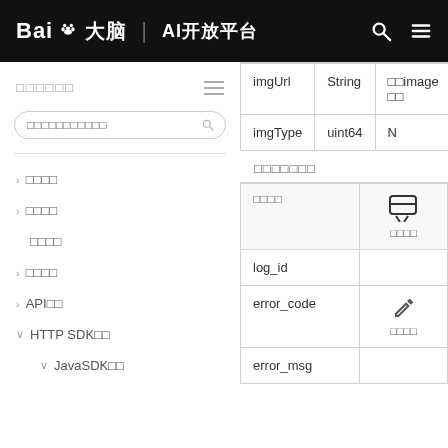百度大脑 AI开放平台
导航菜单
| 字段 | 类型 | 说明 |
| --- | --- | --- |
| imgUrl | String | 图像URL地址 |
| imgType | uint64 | N |
返回说明示例
| 字段名 |  |
| --- | --- |
| log_id |  |
| error_code |  |
| error_msg |  |
> 产品介绍
> 技术文档
使用指南
> 常见问题
> API文档
∨ HTTP SDK教程
∨ JavaSDK教程